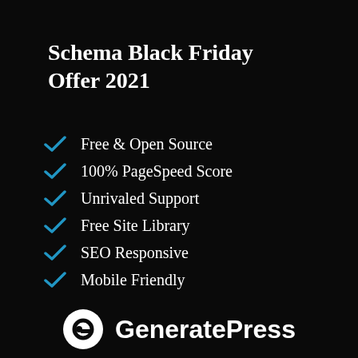Schema Black Friday Offer 2021
Free & Open Source
100% PageSpeed Score
Unrivaled Support
Free Site Library
SEO Responsive
Mobile Friendly
[Figure (logo): GeneratePress logo with circular G icon and text 'GeneratePress']